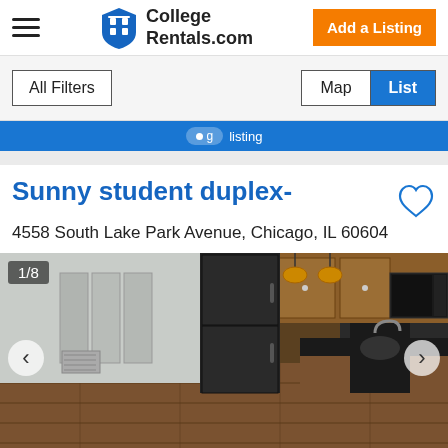College Rentals.com
All Filters
Map   List
[Figure (screenshot): Blue banner strip with partially visible search/filter text]
Sunny student duplex-
4558 South Lake Park Avenue, Chicago, IL 60604
[Figure (photo): Interior kitchen photo of a duplex with hardwood floors, black refrigerator, wooden cabinets, kitchen island with dark countertop, and hanging pendant lights. Image counter shows 1/8.]